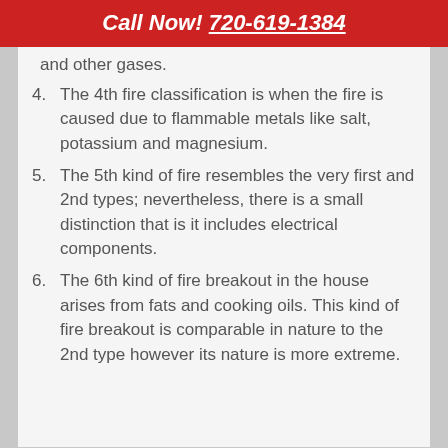Call Now! 720-619-1384
and other gases.
4. The 4th fire classification is when the fire is caused due to flammable metals like salt, potassium and magnesium.
5. The 5th kind of fire resembles the very first and 2nd types; nevertheless, there is a small distinction that is it includes electrical components.
6. The 6th kind of fire breakout in the house arises from fats and cooking oils. This kind of fire breakout is comparable in nature to the 2nd type however its nature is more extreme.